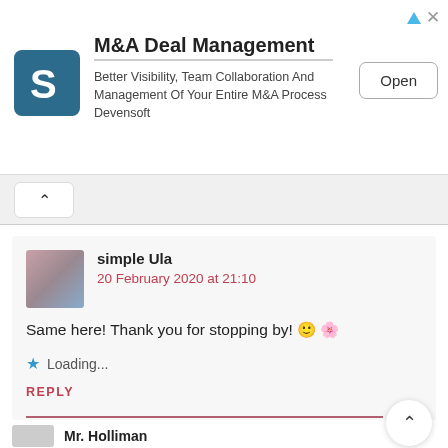[Figure (screenshot): Advertisement banner for M&A Deal Management software by Devensoft with logo, description text and Open button]
M&A Deal Management
Better Visibility, Team Collaboration And Management Of Your Entire M&A Process Devensoft
Open
simple Ula
20 February 2020 at 21:10
Same here! Thank you for stopping by! 🙂 🌸
Loading...
REPLY
Mr. Holliman